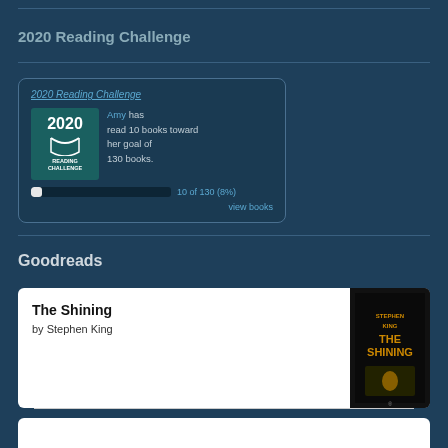2020 Reading Challenge
[Figure (screenshot): 2020 Reading Challenge widget showing Amy has read 10 books toward her goal of 130 books. Progress bar shows 10 of 130 (8%). Link to view books.]
Goodreads
The Shining
by Stephen King